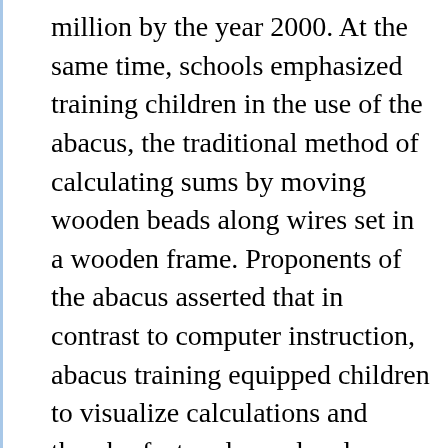million by the year 2000. At the same time, schools emphasized training children in the use of the abacus, the traditional method of calculating sums by moving wooden beads along wires set in a wooden frame. Proponents of the abacus asserted that in contrast to computer instruction, abacus training equipped children to visualize calculations and thereby fostered speed and accuracy in mental arithmetic. The operation of schools by religious groups gained attention in Canada and China. Legislators in Canada's Newfoundland province voted to eliminate from the provincial constitution its unique system of providing public funds to pay the costs